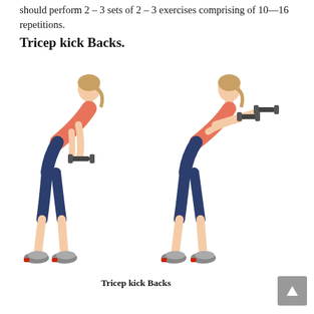should perform 2–3 sets of 2–3 exercises comprising of 10—16 repetitions.
Tricep kick Backs.
[Figure (photo): Two photos side-by-side of a woman performing tricep kickback exercise with dumbbells. Left image shows starting position: woman bent forward at hips, elbows bent holding dumbbells near chest. Right image shows end position: woman bent forward, arms fully extended back holding dumbbells.]
Tricep kick Backs